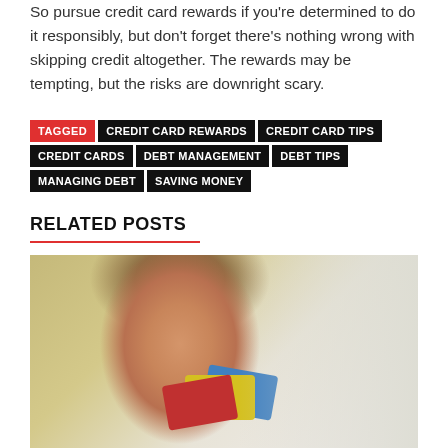So pursue credit card rewards if you're determined to do it responsibly, but don't forget there's nothing wrong with skipping credit altogether. The rewards may be tempting, but the risks are downright scary.
TAGGED | CREDIT CARD REWARDS | CREDIT CARD TIPS | CREDIT CARDS | DEBT MANAGEMENT | DEBT TIPS | MANAGING DEBT | SAVING MONEY
RELATED POSTS
[Figure (photo): A young woman holding multiple credit cards (red, yellow, blue) in front of her face, looking upward, with a blurred background]